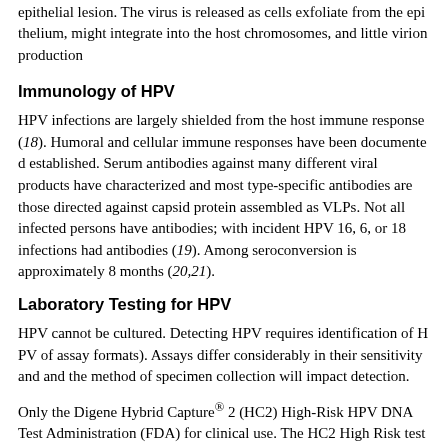epithelial lesion. The virus is released as cells exfoliate from the epithelium, might integrate into the host chromosomes, and little virion production occurs.
Immunology of HPV
HPV infections are largely shielded from the host immune response (18). Humoral and cellular immune responses have been documented but not well established. Serum antibodies against many different viral products have been characterized and most type-specific antibodies are those directed against the major capsid protein assembled as VLPs. Not all infected persons have antibodies; 54–69% with incident HPV 16, 6, or 18 infections had antibodies (19). Among seroconverters, seroconversion is approximately 8 months (20,21).
Laboratory Testing for HPV
HPV cannot be cultured. Detecting HPV requires identification of HPV nucleic acid (a variety of assay formats). Assays differ considerably in their sensitivity and specificity, and the method of specimen collection will impact detection.
Only the Digene Hybrid Capture® 2 (HC2) High-Risk HPV DNA Test is approved by the Food and Drug Administration (FDA) for clinical use. The HC2 High Risk test uses RNA probes that hybridize with 13 high-risk types (HPV 16, 18, 31, 33, 35, 39, 45, 51, 52, 56, 58, 59, 68). The results are negative and are not type-specific. The HC2 High Risk test is approved for use with abnormal Papanicolaou (Pap) test results (atypical squamous cells of undetermined significance) and in combination with the Pap test for cervical cancer screening in women.